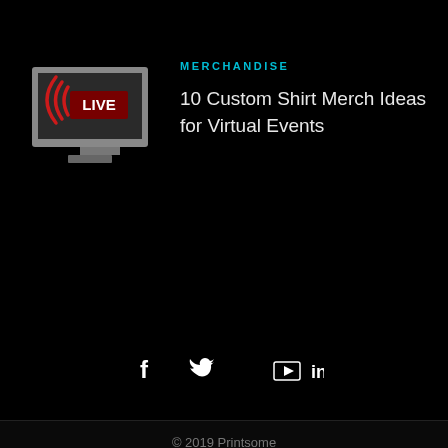[Figure (illustration): A TV monitor/screen showing LIVE text with signal waves, representing a virtual event or live stream. The monitor has a gray body with a darker screen area, and shows a red MERCHANDISE/LIVE broadcast icon.]
MERCHANDISE
10 Custom Shirt Merch Ideas for Virtual Events
[Figure (infographic): Social media icons row: Facebook (f), Twitter (bird), YouTube (play button in box), LinkedIn (in)]
© 2019 Printsome
^ TOP